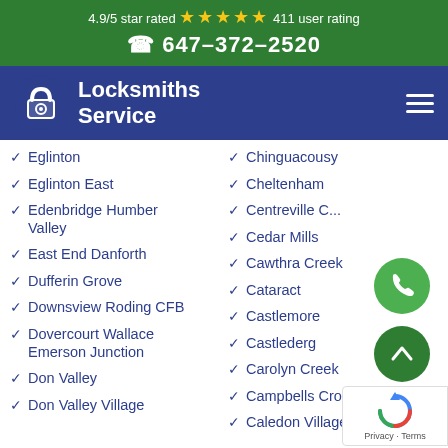4.9/5 star rated ★★★★★ 411 user rating
☎ 647-372-2520
[Figure (logo): Locksmiths Service logo with padlock icon on navy background]
Eglinton
Chinguacousy
Eglinton East
Cheltenham
Edenbridge Humber Valley
Centreville C...
Cedar Mills
East End Danforth
Cawthra Creek
Dufferin Grove
Cataract
Downsview Roding CFB
Castlemore
Dovercourt Wallace Emerson Junction
Castlederg
Carolyn Creek
Don Valley
Campbells Cross
Don Valley Village
Caledon Village